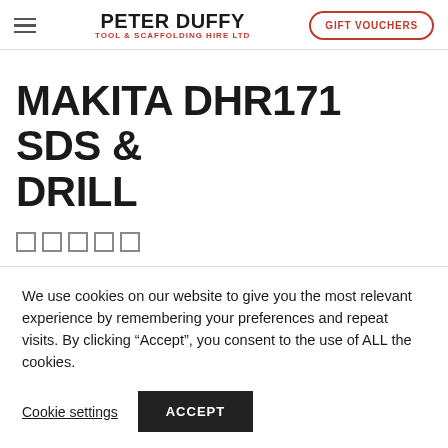PETER DUFFY TOOL & SCAFFOLDING HIRE LTD | GIFT VOUCHERS
MAKITA DHR171 SDS & DRILL
We use cookies on our website to give you the most relevant experience by remembering your preferences and repeat visits. By clicking “Accept”, you consent to the use of ALL the cookies.
Cookie settings | ACCEPT